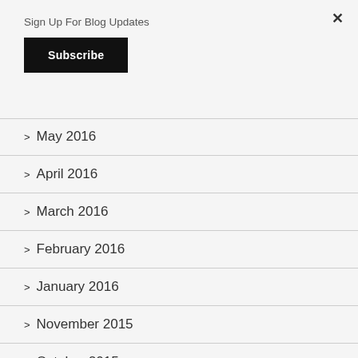Sign Up For Blog Updates
Subscribe
> May 2016
> April 2016
> March 2016
> February 2016
> January 2016
> November 2015
> October 2015